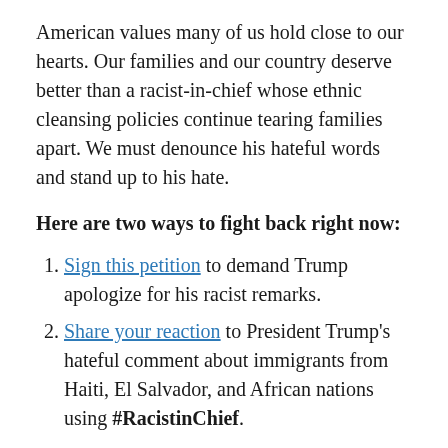American values many of us hold close to our hearts. Our families and our country deserve better than a racist-in-chief whose ethnic cleansing policies continue tearing families apart. We must denounce his hateful words and stand up to his hate.
Here are two ways to fight back right now:
Sign this petition to demand Trump apologize for his racist remarks.
Share your reaction to President Trump's hateful comment about immigrants from Haiti, El Salvador, and African nations using #RacistinChief.